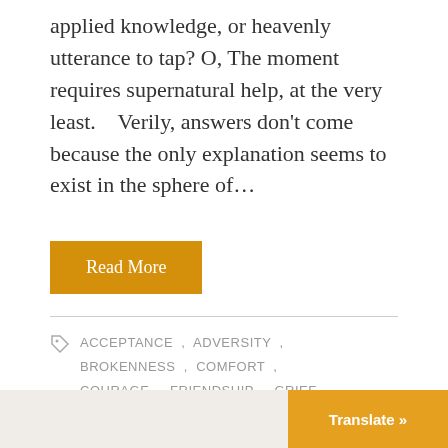applied knowledge, or heavenly utterance to tap? O, The moment requires supernatural help, at the very least.    Verily, answers don't come because the only explanation seems to exist in the sphere of...
Read More
ACCEPTANCE , ADVERSITY , BROKENNESS , COMFORT , COURAGE , FRIENDSHIP , GRIEF , IMPOSSIBLES , LOVE
Translate »